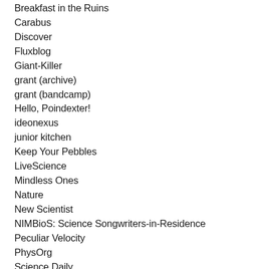Breakfast in the Ruins
Carabus
Discover
Fluxblog
Giant-Killer
grant (archive)
grant (bandcamp)
Hello, Poindexter!
ideonexus
junior kitchen
Keep Your Pebbles
LiveScience
Mindless Ones
Nature
New Scientist
NIMBioS: Science Songwriters-in-Residence
Peculiar Velocity
PhysOrg
Science Daily
Science Magazine
Science News